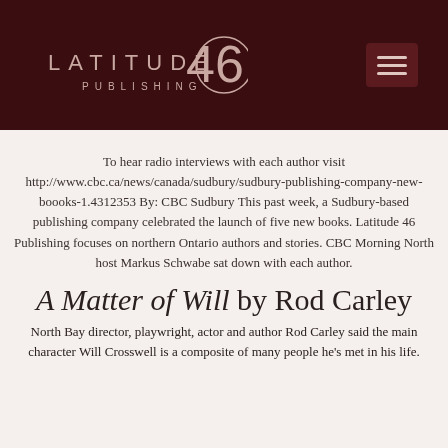[Figure (logo): Latitude 46 Publishing logo — white/light text on dark maroon background with a circle and '46' numeral]
To hear radio interviews with each author visit http://www.cbc.ca/news/canada/sudbury/sudbury-publishing-company-new-boooks-1.4312353 By: CBC Sudbury This past week, a Sudbury-based publishing company celebrated the launch of five new books. Latitude 46 Publishing focuses on northern Ontario authors and stories. CBC Morning North host Markus Schwabe sat down with each author.
A Matter of Will by Rod Carley
North Bay director, playwright, actor and author Rod Carley said the main character Will Crosswell is a composite of many people he's met in his life.